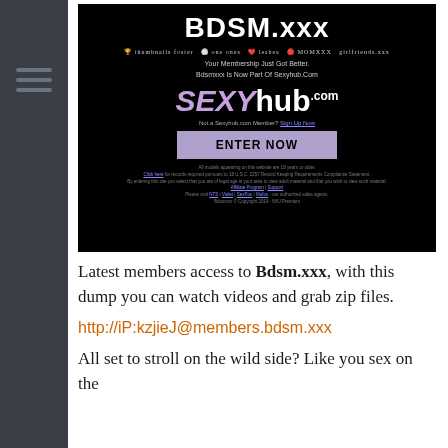[Figure (screenshot): Screenshot of BDSM.xxx / Sexyhub.com website landing page with dark background, site logos, SEXYhub branding, and Enter Now button]
Latest members access to Bdsm.xxx, with this dump you can watch videos and grab zip files.
http://iP:kzjieJ@members.bdsm.xxx
All set to stroll on the wild side? Like you sex on the